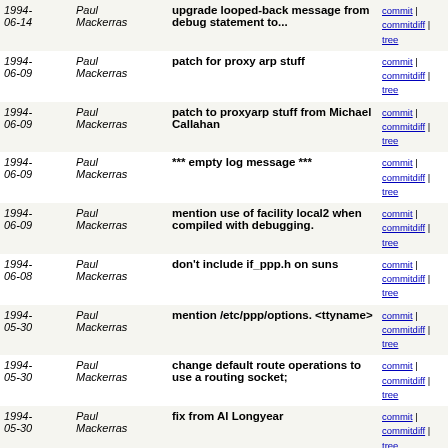| Date | Author | Message | Links |
| --- | --- | --- | --- |
| 1994-06-14 | Paul Mackerras | upgrade looped-back message from debug statement to... | commit | commitdiff | tree |
| 1994-06-09 | Paul Mackerras | patch for proxy arp stuff | commit | commitdiff | tree |
| 1994-06-09 | Paul Mackerras | patch to proxyarp stuff from Michael Callahan | commit | commitdiff | tree |
| 1994-06-09 | Paul Mackerras | *** empty log message *** | commit | commitdiff | tree |
| 1994-06-09 | Paul Mackerras | mention use of facility local2 when compiled with debugging. | commit | commitdiff | tree |
| 1994-06-08 | Paul Mackerras | don't include if_ppp.h on suns | commit | commitdiff | tree |
| 1994-05-30 | Paul Mackerras | mention /etc/ppp/options. <ttyname> | commit | commitdiff | tree |
| 1994-05-30 | Paul Mackerras | change default route operations to use a routing socket; | commit | commitdiff | tree |
| 1994-05-30 | Paul Mackerras | fix from Al Longyear | commit | commitdiff | tree |
| 1994-05-30 | Paul Mackerras | fixes from Al Longyear | commit | commitdiff | tree |
| 1994-05-30 | Paul Mackerras | use receive asyncmap of 0 if not negotiated for compatibility | commit | commitdiff | tree |
| 1994-05-30 | Paul Mackerras | restored id keyword | commit | commitdiff | tree |
| 1994-05-30 | Paul Mackerras | fixes from Al Longyear | commit | commitdiff | tree |
| 1994-... | Paul | add ioctl for SIGIO to establish_ppp | commit | |